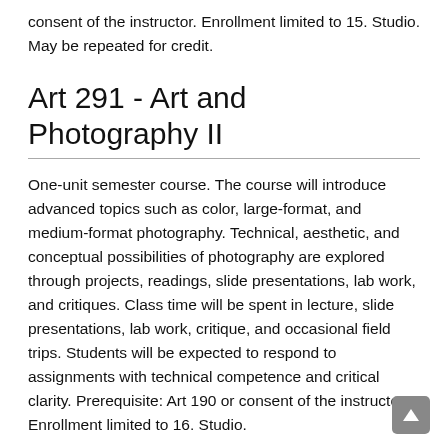consent of the instructor. Enrollment limited to 15. Studio. May be repeated for credit.
Art 291 - Art and Photography II
One-unit semester course. The course will introduce advanced topics such as color, large-format, and medium-format photography. Technical, aesthetic, and conceptual possibilities of photography are explored through projects, readings, slide presentations, lab work, and critiques. Class time will be spent in lecture, slide presentations, lab work, critique, and occasional field trips. Students will be expected to respond to assignments with technical competence and critical clarity. Prerequisite: Art 190 or consent of the instructor. Enrollment limited to 16. Studio.